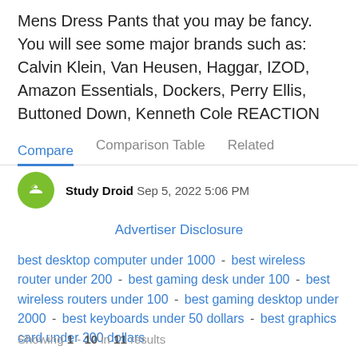Mens Dress Pants that you may be fancy. You will see some major brands such as: Calvin Klein, Van Heusen, Haggar, IZOD, Amazon Essentials, Dockers, Perry Ellis, Buttoned Down, Kenneth Cole REACTION
Compare  Comparison Table  Related
Study Droid  Sep 5, 2022 5:06 PM
Advertiser Disclosure
best desktop computer under 1000 - best wireless router under 200 - best gaming desk under 100 - best wireless routers under 100 - best gaming desktop under 2000 - best keyboards under 50 dollars - best graphics card under 200 dollars
Showing 1 - 10 in 11 results